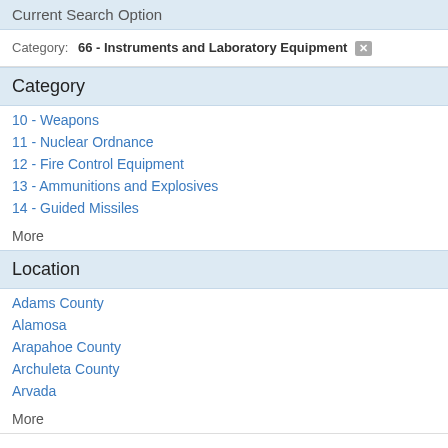Current Search Option
Category: 66 - Instruments and Laboratory Equipment ×
Category
10 - Weapons
11 - Nuclear Ordnance
12 - Fire Control Equipment
13 - Ammunitions and Explosives
14 - Guided Missiles
More
Location
Adams County
Alamosa
Arapahoe County
Archuleta County
Arvada
More